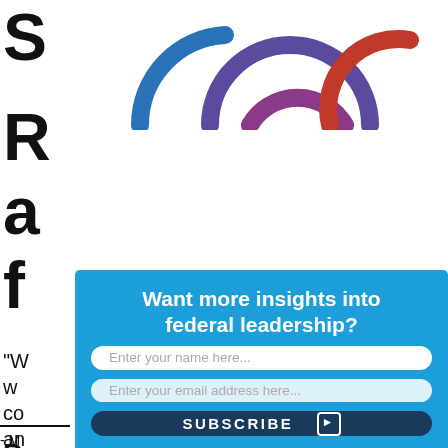[Figure (logo): Partial view of an arc/rainbow logo with blue, purple, and red arcs at the top of the page]
S
R
a
f
“W
w
co
an
- M
Want more insights into federal leadership?
Enter your name here...
Enter your email address here...
SUBSCRIBE ►
P